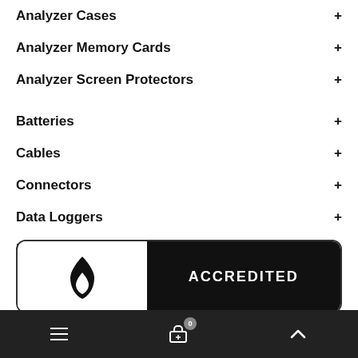Analyzer Cases
Analyzer Memory Cards
Analyzer Screen Protectors
Batteries
Cables
Connectors
Data Loggers
Info
[Figure (logo): Accredited business logo with flame symbol on white background and 'ACCREDITED' text on black background]
Navigation bar with hamburger menu, shopping cart (0 items), and up arrow